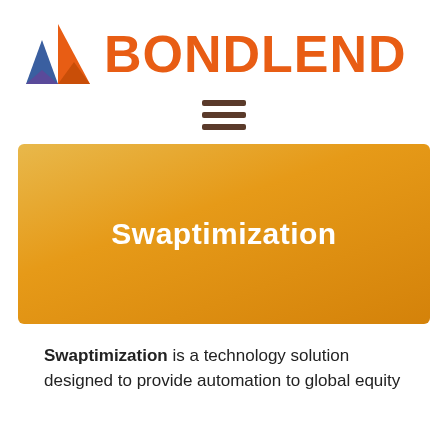[Figure (logo): BondLend logo: triangular geometric mark in blue, orange, and purple alongside bold orange BONDLEND wordmark]
[Figure (other): Hamburger menu icon — three horizontal dark brown bars]
[Figure (other): Gold/orange gradient hero banner with white bold text reading Swaptimization]
Swaptimization is a technology solution designed to provide automation to global equity